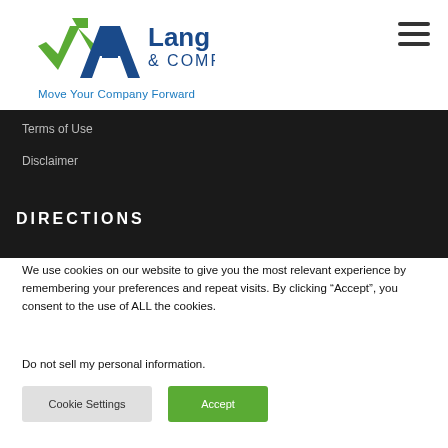[Figure (logo): Lang Allan & Company logo with green checkmark/arrow and blue letter A]
Move Your Company Forward
Terms of Use
Disclaimer
DIRECTIONS
We use cookies on our website to give you the most relevant experience by remembering your preferences and repeat visits. By clicking “Accept”, you consent to the use of ALL the cookies.
Do not sell my personal information.
Cookie Settings
Accept